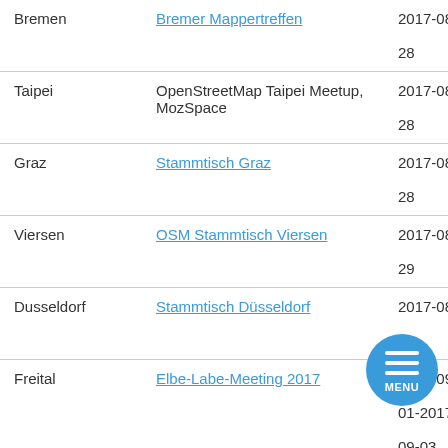| City | Event | Date | Flag |
| --- | --- | --- | --- |
| Bremen | Bremer Mappertreffen | 2017-08-28 | Germany |
| Taipei | OpenStreetMap Taipei Meetup, MozSpace | 2017-08-28 | Taiwan |
| Graz | Stammtisch Graz | 2017-08-28 | Austria |
| Viersen | OSM Stammtisch Viersen | 2017-08-29 | Germany |
| Dusseldorf | Stammtisch Düsseldorf | 2017-08-30 | Germany |
| Freital | Elbe-Labe-Meeting 2017 | 2017-09-01-2017-09-03 | Germany |
| [truncated] | Atelier Wikidata OSM... | 2017-09-... | France |